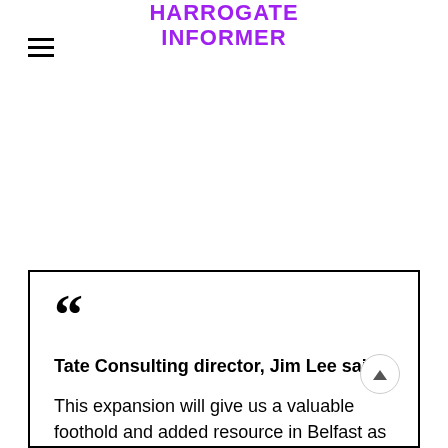HARROGATE INFORMER
Tate Consulting director, Jim Lee said:

This expansion will give us a valuable foothold and added resource in Belfast as well as facilitating further expansion into the Dublin